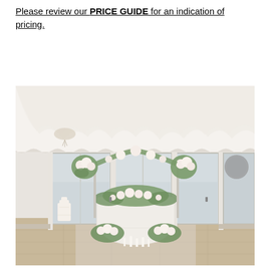Please review our PRICE GUIDE for an indication of pricing.
[Figure (photo): Indoor wedding venue decorated with white draping ceiling, a sweetheart table covered in white linen with floral arrangements of blush and white flowers and greenery, floral arches in the background, candles on the floor, and large floor-to-ceiling windows overlooking a misty outdoor landscape.]